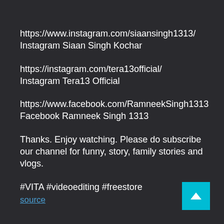https://www.instagram.com/siaansingh1313/
Instagram Siaan Singh Kochar
https://instagram.com/tera13official/
Instagram Tera13 Official
https://www.facebook.com/RamneekSingh1313
Facebook Ramneek Singh 1313
Thanks. Enjoy watching. Please do subscribe our channel for funny, story, family stories and vlogs.
#VITA #videoediting #freestore
source